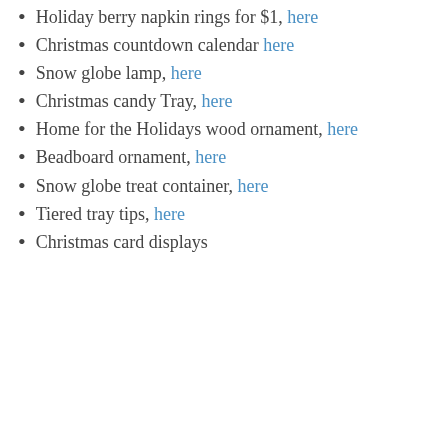Holiday berry napkin rings for $1, here
Christmas countdown calendar here
Snow globe lamp, here
Christmas candy Tray, here
Home for the Holidays wood ornament, here
Beadboard ornament, here
Snow globe treat container, here
Tiered tray tips, here
Christmas card displays